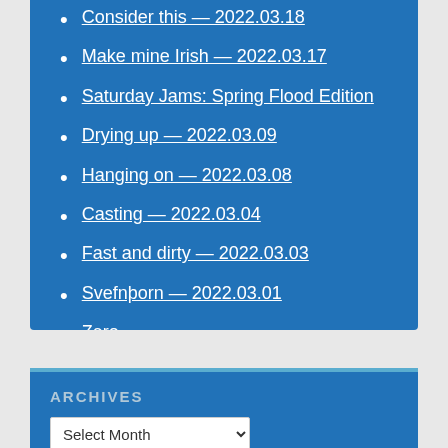Consider this — 2022.03.18
Make mine Irish — 2022.03.17
Saturday Jams: Spring Flood Edition
Drying up — 2022.03.09
Hanging on — 2022.03.08
Casting — 2022.03.04
Fast and dirty — 2022.03.03
Svefnþorn — 2022.03.01
Zero
Höðr's whispers — 2022.02.26
Tanka Thursday — 2022.02.24
ARCHIVES
Select Month